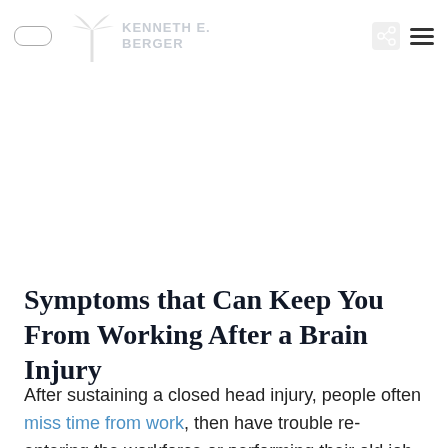KENNETH E. BERGER
Symptoms that Can Keep You From Working After a Brain Injury
After sustaining a closed head injury, people often miss time from work, then have trouble re-entering the workforce or performing their old job. This results in lost income, which only compounds the